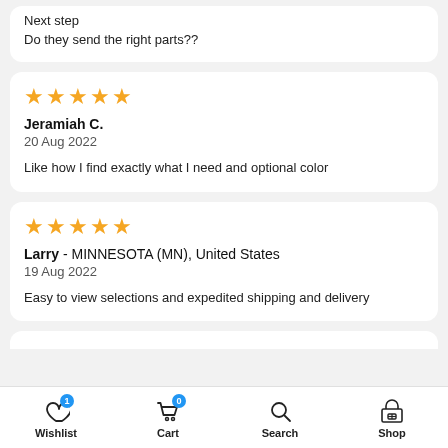Next step
Do they send the right parts??
★★★★★
Jeramiah C.
20 Aug 2022
Like how I find exactly what I need and optional color
★★★★★
Larry  - MINNESOTA (MN), United States
19 Aug 2022
Easy to view selections and expedited shipping and delivery
Wishlist  Cart  Search  Shop